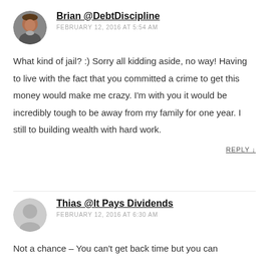[Figure (photo): Circular avatar photo of Brian, a man]
Brian @DebtDiscipline
FEBRUARY 12, 2016 AT 5:54 AM
What kind of jail? :) Sorry all kidding aside, no way! Having to live with the fact that you committed a crime to get this money would make me crazy. I’m with you it would be incredibly tough to be away from my family for one year. I still to building wealth with hard work.
REPLY ↓
[Figure (illustration): Generic grey circular avatar icon]
Thias @It Pays Dividends
FEBRUARY 12, 2016 AT 6:30 AM
Not a chance – You can’t get back time but you can